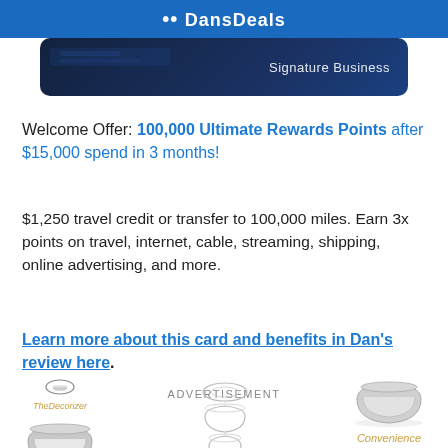DansDeals
[Figure (screenshot): Credit card banner showing 'Signature Business' text on dark blue background]
Welcome Offer: 100,000 Ultimate Rewards Points after $15,000 spend in 3 months!
$1,250 travel credit or transfer to 100,000 miles. Earn 3x points on travel, internet, cable, streaming, shipping, online advertising, and more.
Learn more about this card and benefits in Dan's review here.
ADVERTISEMENT
[Figure (photo): Advertisement for TheDecorizer showing decorative metal bowls with text 'Convenience & Elegance']